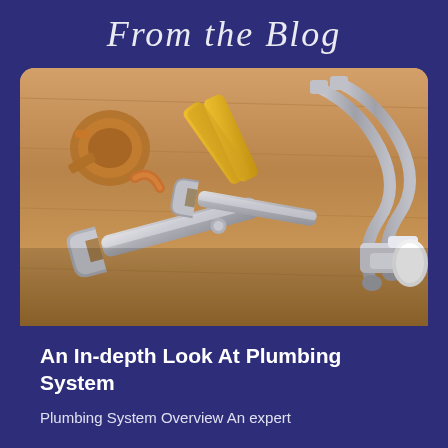From the Blog
[Figure (photo): Assorted plumbing tools and fittings including wrenches, pipe fittings, flexible hoses, and a shut-off valve arranged on a wooden surface]
An In-depth Look At Plumbing System
Plumbing System Overview An expert